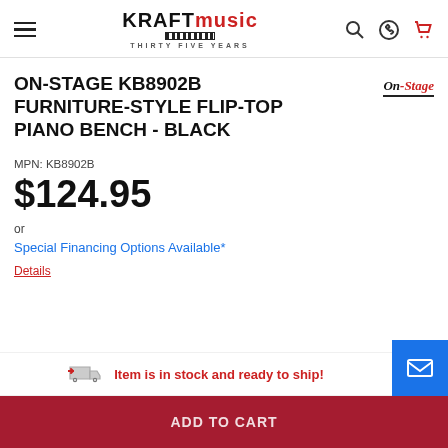Kraft Music - THIRTY FIVE YEARS
ON-STAGE KB8902B FURNITURE-STYLE FLIP-TOP PIANO BENCH - BLACK
[Figure (logo): On-Stage brand logo with italic serif text and underline]
MPN: KB8902B
$124.95
or
Special Financing Options Available*
Details
Item is in stock and ready to ship!